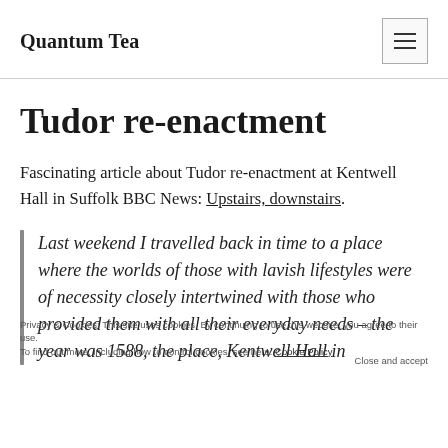Quantum Tea
Tudor re-enactment
Fascinating article about Tudor re-enactment at Kentwell Hall in Suffolk BBC News: Upstairs, downstairs.
Last weekend I travelled back in time to a place where the worlds of those with lavish lifestyles were of necessity closely intertwined with those who provided them with all their everyday needs – the year was 1588, the place, Kentwell Hall in